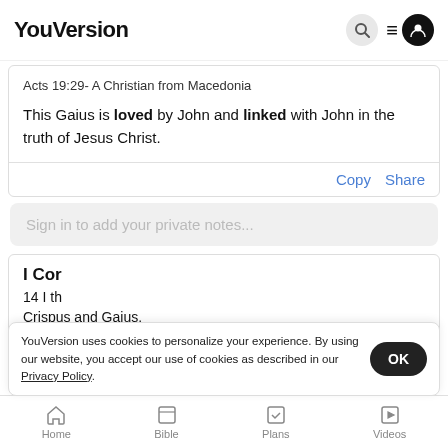YouVersion
Acts 19:29- A Christian from Macedonia
This Gaius is loved by John and linked with John in the truth of Jesus Christ.
Copy  Share
Sign in to add your private notes...
I Cor
14 I th
Crispus and Gaius.
YouVersion uses cookies to personalize your experience. By using our website, you accept our use of cookies as described in our Privacy Policy.
Home  Bible  Plans  Videos